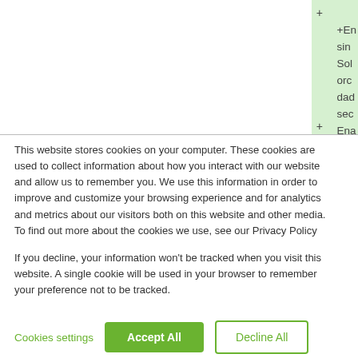[Figure (screenshot): Partial screenshot of a website with a green highlighted right panel showing menu items with + expand icons and partial text: +En, sin, Sol, orc, dad, sec, Ena, and another + at the bottom.]
This website stores cookies on your computer. These cookies are used to collect information about how you interact with our website and allow us to remember you. We use this information in order to improve and customize your browsing experience and for analytics and metrics about our visitors both on this website and other media. To find out more about the cookies we use, see our Privacy Policy

If you decline, your information won't be tracked when you visit this website. A single cookie will be used in your browser to remember your preference not to be tracked.
Cookies settings
Accept All
Decline All